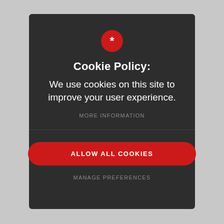[Figure (screenshot): Red circle with white asterisk icon centered at top of cookie consent modal]
Cookie Policy:
We use cookies on this site to improve your user experience.
MORE INFORMATION
ALLOW ALL COOKIES
MANAGE PREFERENCES